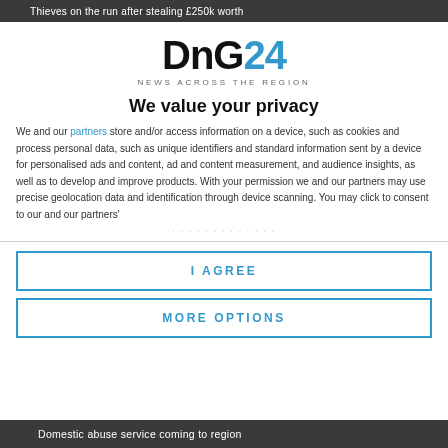Thieves on the run after stealing £250k worth
[Figure (logo): DnG24 logo with tagline NEWS ACROSS THE REGION]
We value your privacy
We and our partners store and/or access information on a device, such as cookies and process personal data, such as unique identifiers and standard information sent by a device for personalised ads and content, ad and content measurement, and audience insights, as well as to develop and improve products. With your permission we and our partners may use precise geolocation data and identification through device scanning. You may click to consent to our and our partners'
I AGREE
MORE OPTIONS
Domestic abuse service coming to region